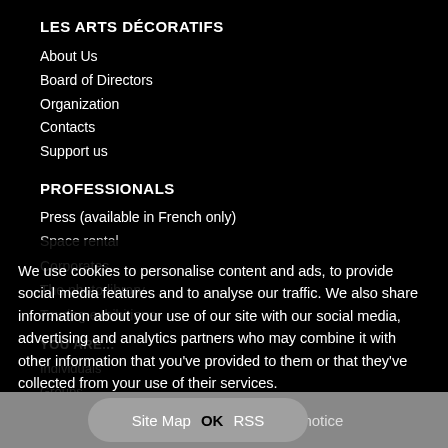LES ARTS DÉCORATIFS
About Us
Board of Directors
Organization
Contacts
Support us
PROFESSIONALS
Press (available in French only)
Space rental
Corporates
The photo library
Touring exhibitions
YOU ARE...
...
...
We use cookies to personalise content and ads, to provide social media features and to analyse our traffic. We also share information about your use of our site with our social media, advertising and analytics partners who may combine it with other information that you've provided to them or that they've collected from your use of their services.
Site Map  RSS  Legal notice  OK